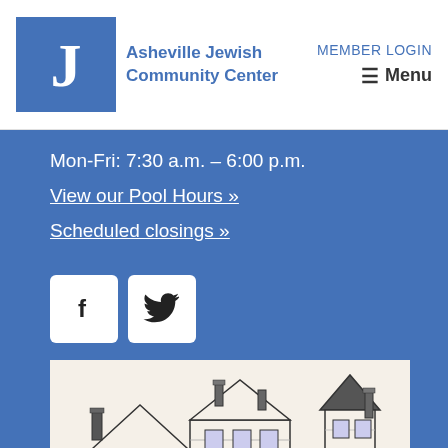Asheville Jewish Community Center | MEMBER LOGIN | Menu
Mon-Fri: 7:30 a.m. – 6:00 p.m.
View our Pool Hours »
Scheduled closings »
[Figure (illustration): Facebook and Twitter social media icon buttons (white rounded square buttons with f and bird icons)]
[Figure (illustration): Pen-and-ink illustration of three historical/Victorian-style building facades in black and white on a cream background, with red/brick elements at bottom]